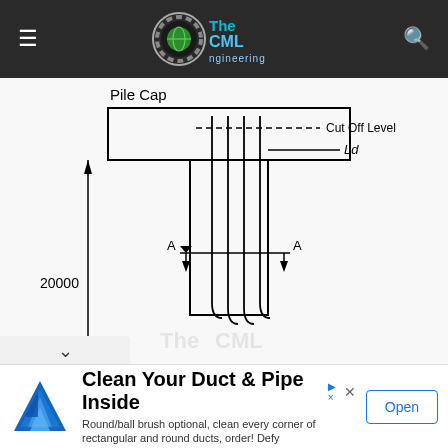The CML Engineering (navigation bar with logo)
[Figure (engineering-diagram): Engineering schematic of a Pile Cap cross-section showing: a rectangular pile cap at top, reinforcement bars (rebar) extending downward through the pile shaft. Labels indicate 'Pile Cap' at top-left, 'Cut Off Level' with dashed line, 'Ld' dimension marker, section cut markers 'A-A' with arrows, and dimension '20000' along the left side vertical arrow indicating pile length. The reinforcement bars curve at the bottom (hooks). A watermark of 'The CML Engineering' logo overlays the diagram.]
Clean Your Duct & Pipe Inside
Round/ball brush optional, clean every corner of rectangular and round ducts, order! Defy